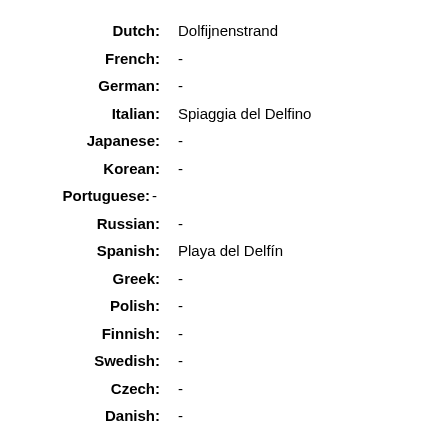Dutch: Dolfijnenstrand
French: -
German: -
Italian: Spiaggia del Delfino
Japanese: -
Korean: -
Portuguese: -
Russian: -
Spanish: Playa del Delfín
Greek: -
Polish: -
Finnish: -
Swedish: -
Czech: -
Danish: -